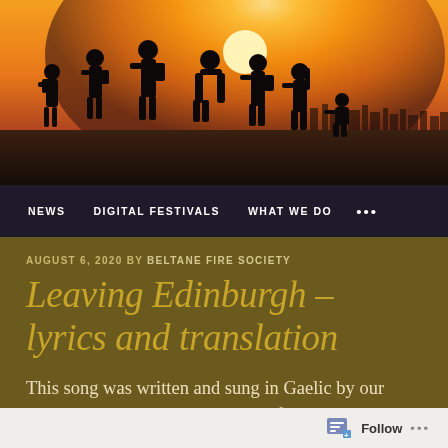[Figure (photo): Silhouettes of people walking against a golden sunset sky with city skyline in background]
NEWS   DIGITAL FESTIVALS   WHAT WE DO   ...
AUGUST 6, 2020 BY BELTANE FIRE SOCIETY
Leaving Edinburgh – lyrics and translation
This song was written and sung in Gaelic by our volunteer Adam Dahmer as part of our